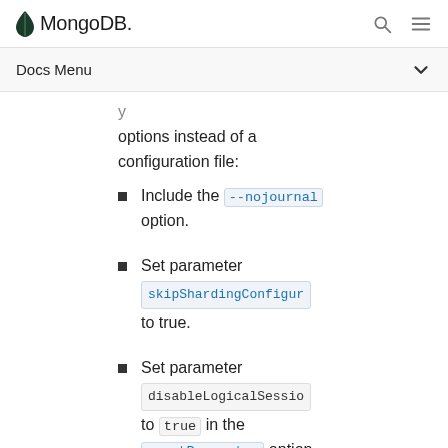MongoDB | Docs Menu
options instead of a configuration file:
Include the --nojournal option.
Set parameter skipShardingConfigur to true.
Set parameter disableLogicalSessio to true in the --setParameter option.